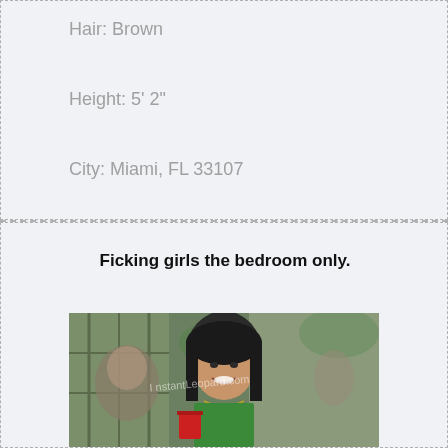Hair: Brown
Height: 5' 2"
City: Miami, FL 33107
Ficking girls the bedroom only.
[Figure (photo): Photo of a young woman with long dark hair, smiling, holding a red cup, in an outdoor/restaurant setting. Watermark text visible.]